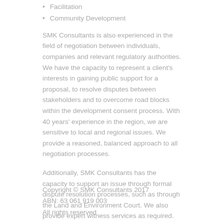Facilitation
Community Development
SMK Consultants is also experienced in the field of negotiation between individuals, companies and relevant regulatory authorities. We have the capacity to represent a client's interests in gaining public support for a proposal, to resolve disputes between stakeholders and to overcome road blocks within the development consent process. With 40 years' experience in the region, we are sensitive to local and regional issues. We provide a reasoned, balanced approach to all negotiation processes.
Additionally, SMK Consultants has the capacity to support an issue through formal dispute resolution processes, such as through the Land and Environment Court. We also provide expert witness services as required.
Copyright © SMK Consultants 2017
ABN: 63 061 919 003
All rights reserved